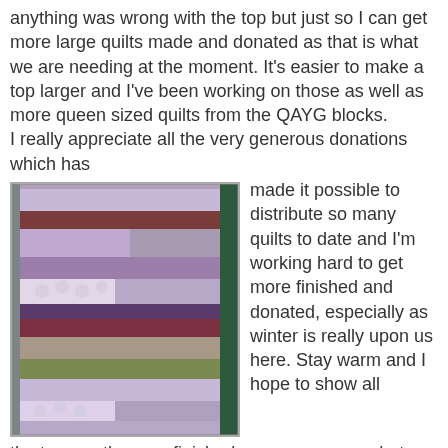anything was wrong with the top but just so I can get more large quilts made and donated as that is what we are needing at the moment. It's easier to make a top larger and I've been working on those as well as more queen sized quilts from the QAYG blocks.
I really appreciate all the very generous donations which has made it possible to distribute so many quilts to date and I'm working hard to get more finished and donated, especially as winter is really upon us here. Stay warm and I hope to show all the tops as they are finished so you can see what happens to the donations.
[Figure (photo): A photograph of a patchwork quilt with purple, lavender, grey, brown, and green fabric strips and patches, with a dark green border.]
Hugs Jan Mac
Jan Mac at 8:28 PM    4 comments: